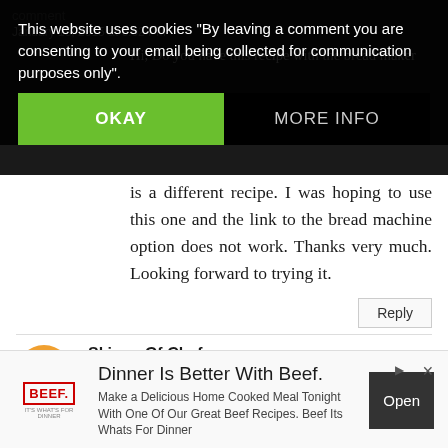This website uses cookies "By leaving a comment you are consenting to your email being collected for communication purposes only".
OKAY
MORE INFO
Hi, Do you have this recipe with the bread maker ... the link you posted in the comments is a different recipe. I was hoping to use this one and the link to the bread machine option does not work. Thanks very much. Looking forward to trying it.
Reply
Skinny Gf Chef
January 18, 2015 at 7:57 PM
Hi, Janel, the link to my Spectacular Bread has...
Dinner Is Better With Beef.
Make a Delicious Home Cooked Meal Tonight With One Of Our Great Beef Recipes. Beef Its Whats For Dinner
Open